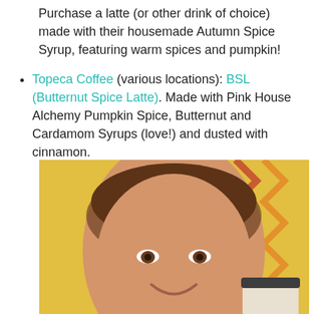Purchase a latte (or other drink of choice) made with their housemade Autumn Spice Syrup, featuring warm spices and pumpkin!
Topeca Coffee (various locations): BSL (Butternut Spice Latte). Made with Pink House Alchemy Pumpkin Spice, Butternut and Cardamom Syrups (love!) and dusted with cinnamon.
[Figure (photo): A smiling woman with brown hair pulled back, holding a coffee cup with a dark lid in front of a yellow brick wall with orange and red zigzag mural designs.]